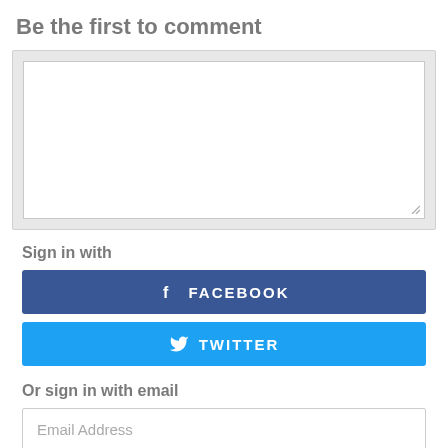Be the first to comment
[Figure (screenshot): Comment text area input box inside a light gray container with resize handle]
Sign in with
[Figure (infographic): Facebook sign-in button (dark blue with Facebook icon and FACEBOOK text)]
[Figure (infographic): Twitter sign-in button (light blue with Twitter bird icon and TWITTER text)]
Or sign in with email
[Figure (screenshot): Email Address input field]